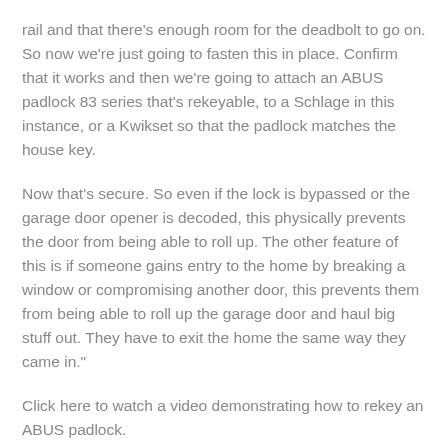rail and that there's enough room for the deadbolt to go on. So now we're just going to fasten this in place. Confirm that it works and then we're going to attach an ABUS padlock 83 series that's rekeyable, to a Schlage in this instance, or a Kwikset so that the padlock matches the house key.
Now that's secure. So even if the lock is bypassed or the garage door opener is decoded, this physically prevents the door from being able to roll up. The other feature of this is if someone gains entry to the home by breaking a window or compromising another door, this prevents them from being able to roll up the garage door and haul big stuff out. They have to exit the home the same way they came in."
Click here to watch a video demonstrating how to rekey an ABUS padlock.